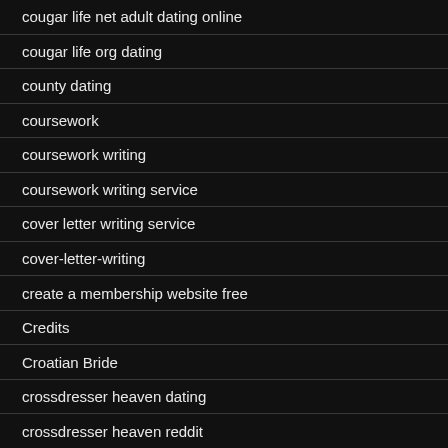cougar life net adult dating online
cougar life org dating
county dating
coursework
coursework writing
coursework writing service
cover letter writing service
cover-letter-writing
create a membership website free
Credits
Croatian Bride
crossdresser heaven dating
crossdresser heaven reddit